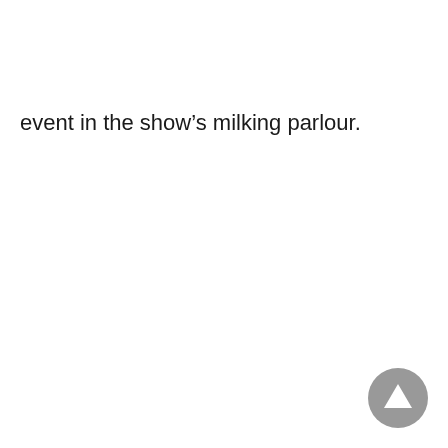event in the show’s milking parlour.